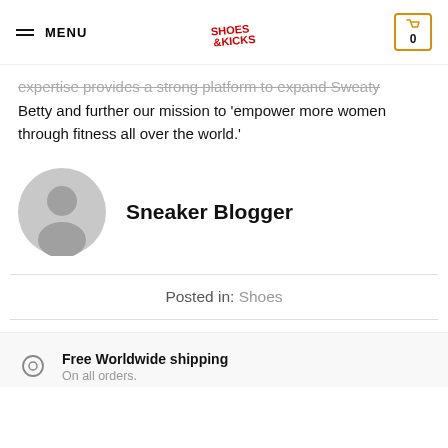MENU | [Logo: Shoes & Kicks] | [Cart: 0]
expertise provides a strong platform to expand Sweaty Betty and further our mission to 'empower more women through fitness all over the world.'
Sneaker Blogger
Posted in: Shoes
Free Worldwide shipping
On all orders.